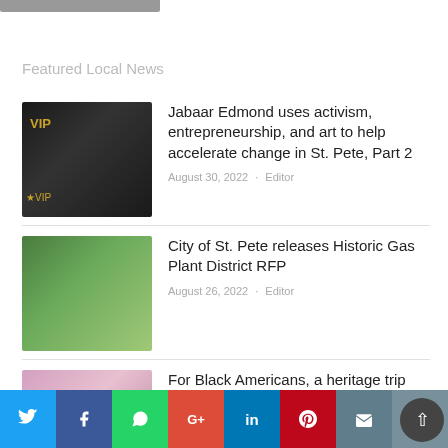Featured Local News
[Figure (photo): Man in dark suit and sunglasses at VIP event]
Jabaar Edmond uses activism, entrepreneurship, and art to help accelerate change in St. Pete, Part 2
August 30, 2022 · Editor
[Figure (photo): Man at outdoor podium press conference]
City of St. Pete releases Historic Gas Plant District RFP
August 26, 2022 · Editor
[Figure (photo): Group of people in colorful attire outdoors]
For Black Americans, a heritage trip with Certified Africa can be life-